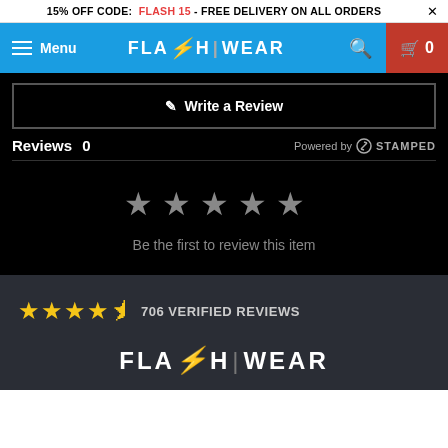15% OFF CODE: FLASH 15 - FREE DELIVERY ON ALL ORDERS ×
[Figure (screenshot): FlashWear navigation bar with hamburger menu, logo, search icon, and cart icon showing 0 items]
✎ Write a Review
Reviews 0   Powered by STAMPED
[Figure (illustration): Five empty gray star rating icons]
Be the first to review this item
★★★★½ 706 VERIFIED REVIEWS
[Figure (logo): FlashWear footer logo in white with red lightning bolt]